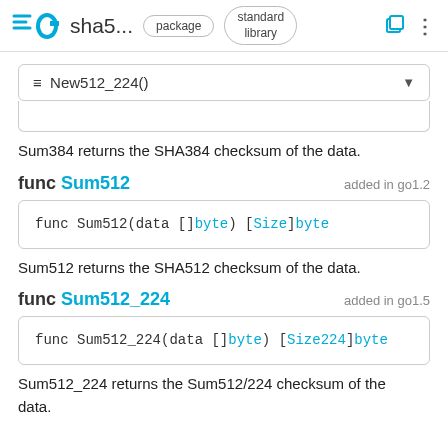GO sha5... package standard library
≡ New512_224()
Sum384 returns the SHA384 checksum of the data.
func Sum512  added in go1.2
func Sum512(data []byte) [Size]byte
Sum512 returns the SHA512 checksum of the data.
func Sum512_224  added in go1.5
func Sum512_224(data []byte) [Size224]byte
Sum512_224 returns the Sum512/224 checksum of the data.